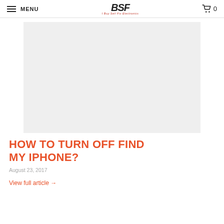MENU | BSF | 0
[Figure (photo): Gray placeholder image for article thumbnail]
HOW TO TURN OFF FIND MY IPHONE?
August 23, 2017
View full article →